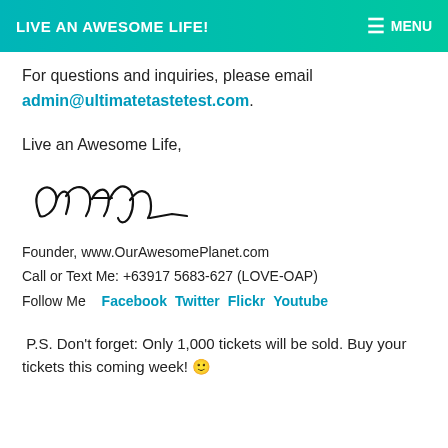LIVE AN AWESOME LIFE!   MENU
For questions and inquiries, please email admin@ultimatetastetest.com.
Live an Awesome Life,
[Figure (illustration): Handwritten cursive signature reading 'Anton']
Founder, www.OurAwesomePlanet.com
Call or Text Me: +63917 5683-627 (LOVE-OAP)
Follow Me   Facebook   Twitter   Flickr   Youtube
P.S. Don't forget: Only 1,000 tickets will be sold. Buy your tickets this coming week! 🙂